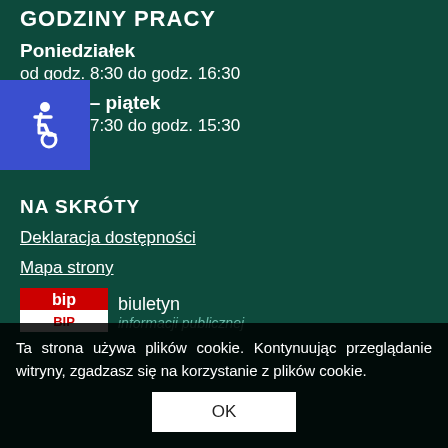GODZINY PRACY
Poniedziałek
od godz. 8:30 do godz. 16:30
Wtorek – piątek
od godz. 7:30 do godz. 15:30
[Figure (illustration): Accessibility icon: wheelchair symbol on blue square background]
NA SKRÓTY
Deklaracja dostępności
Mapa strony
[Figure (logo): BIP logo - Biuletyn Informacji Publicznej, red and white logo with 'bip' text]
biuletyn informacji publicznej
Ta strona używa plików cookie. Kontynuując przeglądanie witryny, zgadzasz się na korzystanie z plików cookie.